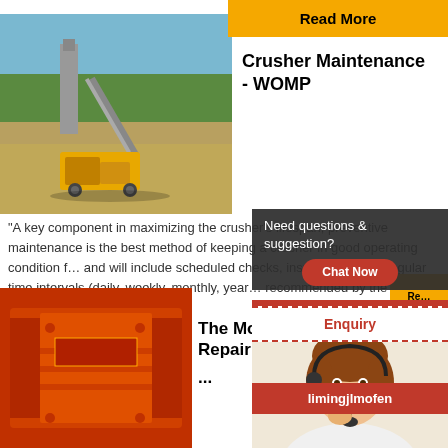Read More
[Figure (photo): Quarry site with yellow mobile crusher and conveyor belt machinery in an open-pit mining area with trees in background]
Crusher Maintenance - WOMP
“A key component in maximizing the crusher’s lifespan, preventive maintenance is the best method of keeping a crusher in good operating condition f… and will include scheduled checks, inspections an… regular time intervals (daily, weekly, monthly, year… recommended by the crusher manufacturer.
24Hrs Online
[Figure (photo): Customer service agent woman with headset smiling]
[Figure (photo): Large orange jaw crusher machine]
Re…
The Most Practical Jaw Repair and M… ...
Need questions & suggestion?
Chat Now
Enquiry
limingjlmofen